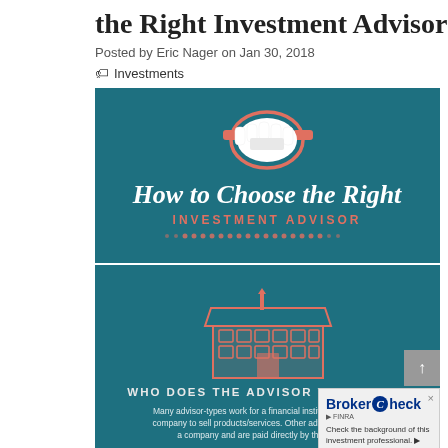the Right Investment Advisor
Posted by Eric Nager on Jan 30, 2018
Investments
[Figure (infographic): Infographic with teal background. Top panel shows handshake icon and title 'How to Choose the Right INVESTMENT ADVISOR' with decorative dots. Bottom panel shows a bank/institution building icon, text 'WHO DOES THE ADVISOR WORK FOR?' and body text about advisor types. A BrokerCheck by FINRA widget appears in bottom-right corner.]